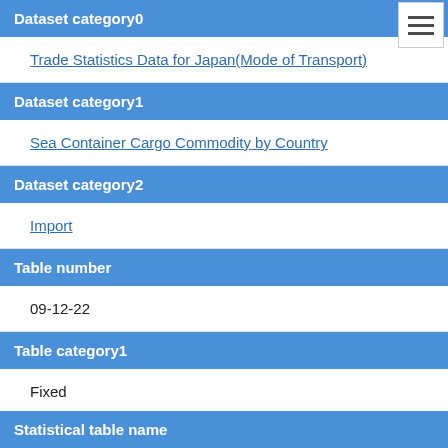Dataset category0
Trade Statistics Data for Japan(Mode of Transport)
Dataset category1
Sea Container Cargo Commodity by Country
Dataset category2
Import
Table number
09-12-22
Table category1
Fixed
Statistical table name